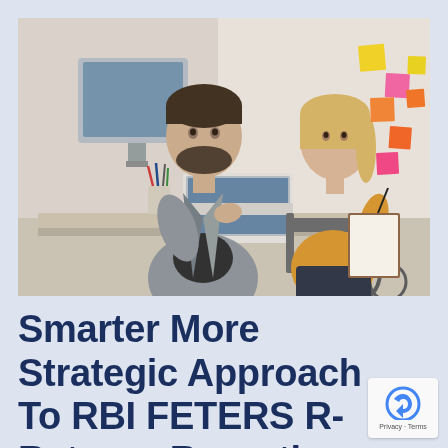[Figure (photo): Two people working at a desk in an office. A man with a beard in a gray blazer looks at a laptop, while a woman in a yellow sweater seated in a wheelchair writes on a clipboard. Colorful sticky notes are visible on the wall in the background.]
Smarter More Strategic Approach To RBI FETERS R-Returns Reporting